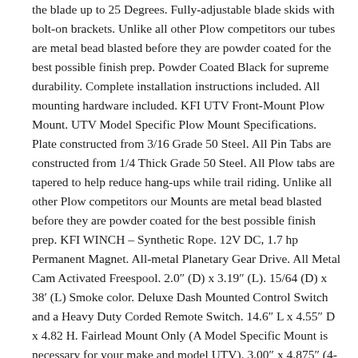the blade up to 25 Degrees. Fully-adjustable blade skids with bolt-on brackets. Unlike all other Plow competitors our tubes are metal bead blasted before they are powder coated for the best possible finish prep. Powder Coated Black for supreme durability. Complete installation instructions included. All mounting hardware included. KFI UTV Front-Mount Plow Mount. UTV Model Specific Plow Mount Specifications. Plate constructed from 3/16 Grade 50 Steel. All Pin Tabs are constructed from 1/4 Thick Grade 50 Steel. All Plow tabs are tapered to help reduce hang-ups while trail riding. Unlike all other Plow competitors our Mounts are metal bead blasted before they are powder coated for the best possible finish prep. KFI WINCH – Synthetic Rope. 12V DC, 1.7 hp Permanent Magnet. All-metal Planetary Gear Drive. All Metal Cam Activated Freespool. 2.0″ (D) x 3.19″ (L). 15/64 (D) x 38′ (L) Smoke color. Deluxe Dash Mounted Control Switch and a Heavy Duty Corded Remote Switch. 14.6″ L x 4.55″ D x 4.82 H. Fairlead Mount Only (A Model Specific Mount is necessary for your make and model UTV). 3.00″ x 4.875″ (4-Hole). Constructed of 3/16 steel. Unlike all other mount competitors